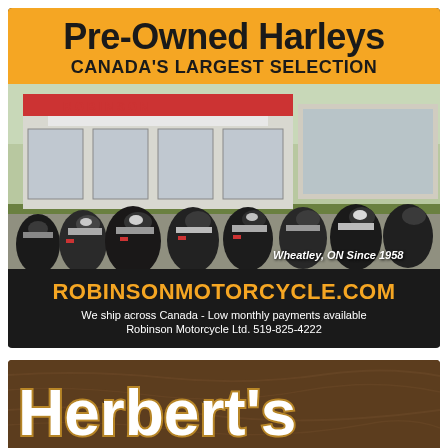Pre-Owned Harleys Canada's Largest Selection
[Figure (photo): Outdoor photo of Robinson motorcycle dealership lot with many Harley-Davidson motorcycles parked in front of the building. Sign reads ROBINSON. Caption: Wheatley, ON Since 1958.]
RobinsonMotorcycle.com
We ship across Canada - Low monthly payments available
Robinson Motorcycle Ltd. 519-825-4222
Herbert's